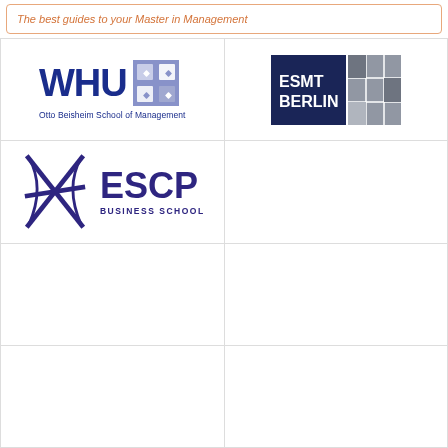The best guides to your Master in Management
[Figure (logo): WHU – Otto Beisheim School of Management logo with blue WHU text and blue/grey checkered square icon]
[Figure (logo): ESMT Berlin logo with dark blue and grey grid squares]
[Figure (logo): ESCP Business School logo with purple star/cross symbol and ESCP Business School text]
[Figure (other): Empty cell]
[Figure (other): Empty cell]
[Figure (other): Empty cell]
[Figure (other): Empty cell]
[Figure (other): Empty cell]